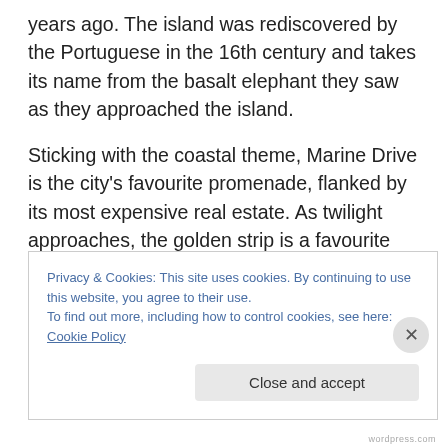years ago. The island was rediscovered by the Portuguese in the 16th century and takes its name from the basalt elephant they saw as they approached the island.
Sticking with the coastal theme, Marine Drive is the city's favourite promenade, flanked by its most expensive real estate. As twilight approaches, the golden strip is a favourite with couples taking a romantic stroll. After dark, the parade is festooned with thousands of lights, earning it the nickname of The Queen's Necklace. Chowpatty Beach is a clean and floodlit nightspot and a great place to
Privacy & Cookies: This site uses cookies. By continuing to use this website, you agree to their use.
To find out more, including how to control cookies, see here: Cookie Policy